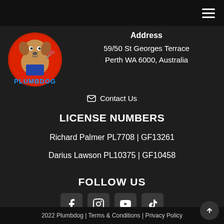[Figure (logo): Plumbdog mascot logo - cartoon dog holding plumbing tools inside a red circular badge with 'PLUMBDOG' text]
Address
59/50 St Georges Terrace
Perth WA 6000, Australia
✉ Contact Us
LICENSE NUMBERS
Richard Palmer PL7708 | GF13261
Darius Lawson PL10375 | GF10458
FOLLOW US
[Figure (other): Social media icons: Facebook, Instagram, YouTube, TikTok]
2022 Plumbdog | Terms & Conditions | Privacy Policy